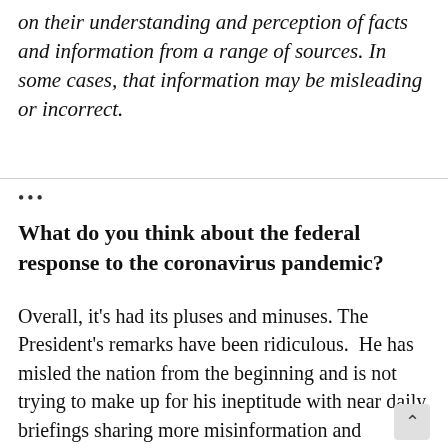on their understanding and perception of facts and information from a range of sources. In some cases, that information may be misleading or incorrect.
...
What do you think about the federal response to the coronavirus pandemic?
Overall, it's had its pluses and minuses. The President's remarks have been ridiculous.  He has misled the nation from the beginning and is not trying to make up for his ineptitude with near daily briefings sharing more misinformation and frustrating policies while consistently showing empathy for the stock market–but not the American